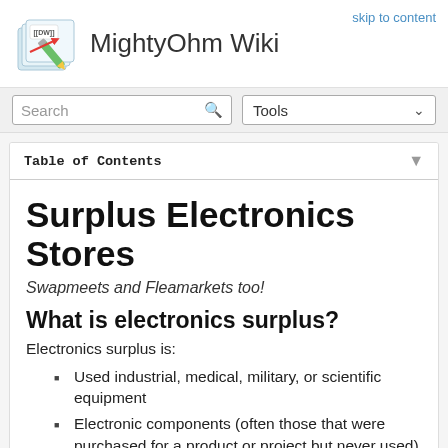MightyOhm Wiki
skip to content
Surplus Electronics Stores
Swapmeets and Fleamarkets too!
What is electronics surplus?
Electronics surplus is:
Used industrial, medical, military, or scientific equipment
Electronic components (often those that were purchased for a product or project but never used)